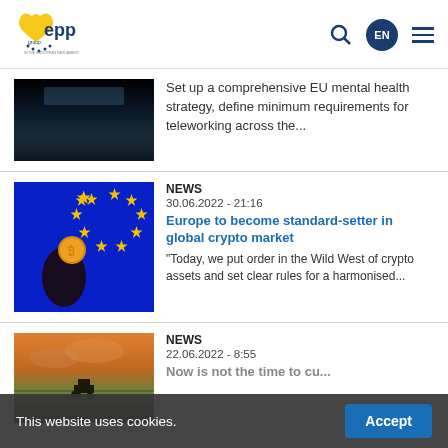[Figure (logo): EPP Group logo - yellow heart/curve with 'epp' text and blue stars]
[Figure (photo): Dark monitor/screen image]
Set up a comprehensive EU mental health strategy, define minimum requirements for teleworking across the...
[Figure (photo): Hand holding bitcoin coin against EU flag with yellow stars on blue background]
NEWS
30.06.2022 - 21:16
Europe to become standard-setter in global crypto market
"Today, we put order in the Wild West of crypto assets and set clear rules for a harmonised...
[Figure (photo): Sunset over field with tractor silhouette]
NEWS
22.06.2022 - 8:55
Now is not the time to cu...
This website uses cookies.
Accept